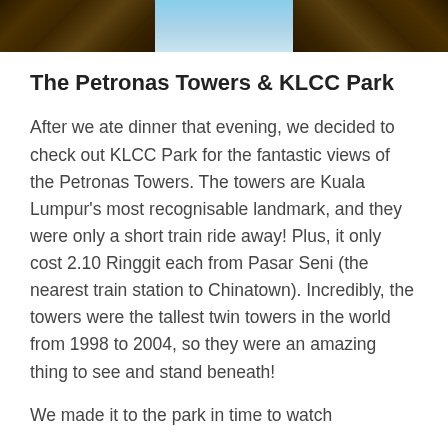[Figure (photo): Cropped photo of Petronas Towers at night with city lights, golden illuminated buildings on the sides and blue sky in the center]
The Petronas Towers & KLCC Park
After we ate dinner that evening, we decided to check out KLCC Park for the fantastic views of the Petronas Towers. The towers are Kuala Lumpur's most recognisable landmark, and they were only a short train ride away! Plus, it only cost 2.10 Ringgit each from Pasar Seni (the nearest train station to Chinatown). Incredibly, the towers were the tallest twin towers in the world from 1998 to 2004, so they were an amazing thing to see and stand beneath!
We made it to the park in time to watch